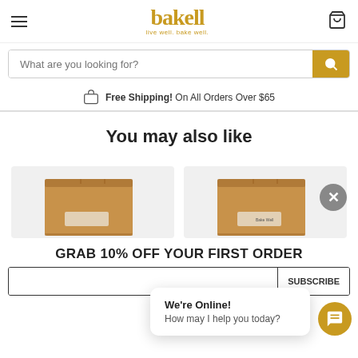[Figure (logo): Bakell logo with whisk icon and tagline 'live well. bake well.']
What are you looking for?
Free Shipping! On All Orders Over $65
You may also like
[Figure (photo): Two brown cardboard shipping boxes shown as product thumbnails, with a grey X close button on the right]
GRAB 10% OFF YOUR FIRST ORDER
We're Online!
How may I help you today?